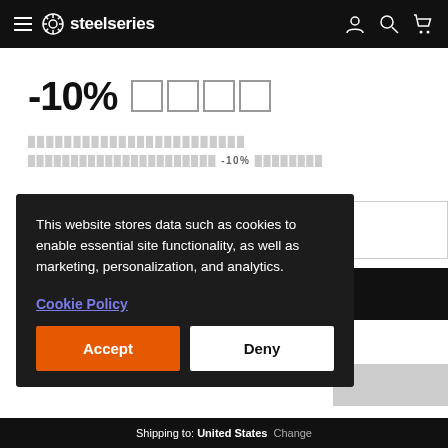SteelSeries navigation header
-10% 🎮🎮🎮🎮
████████████████████
████████████████████ -10% █████
This website stores data such as cookies to enable essential site functionality, as well as marketing, personalization, and analytics.
Cookie Policy
Accept
Deny
Shipping to: United States  Change